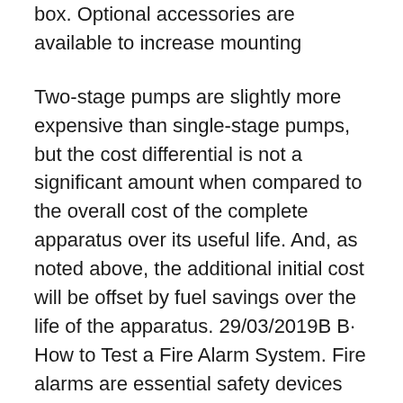box. Optional accessories are available to increase mounting
Two-stage pumps are slightly more expensive than single-stage pumps, but the cost differential is not a significant amount when compared to the overall cost of the complete apparatus over its useful life. And, as noted above, the additional initial cost will be offset by fuel savings over the life of the apparatus. 29/03/2019B B· How to Test a Fire Alarm System. Fire alarms are essential safety devices that, when activated, will alert you of danger and quite possibly save your life. Testing your system regularly ensures that the detectors and alarms are working...